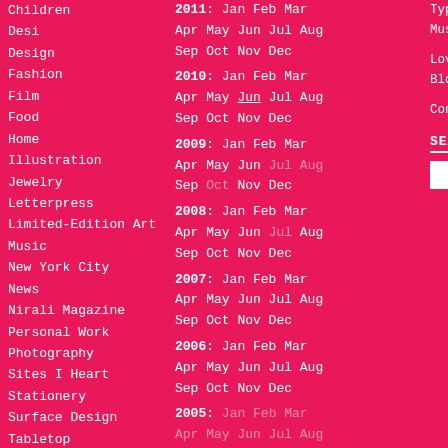Children
Desi
Design
Fashion
Film
Food
Home
Illustration
Jewelry
Letterpress
Limited-Edition Art
Music
New York City
News
Nirali Magazine
Personal Work
Photography
Sites I Heart
Stationery
Surface Design
Tabletop
Typography
Wedding
2011: Jan Feb Mar Apr May Jun Jul Aug Sep Oct Nov Dec
2010: Jan Feb Mar Apr May Jun Jul Aug Sep Oct Nov Dec
2009: Jan Feb Mar Apr May Jun Jul Aug Sep Oct Nov Dec
2008: Jan Feb Mar Apr May Jun Jul Aug Sep Oct Nov Dec
2007: Jan Feb Mar Apr May Jun Jul Aug Sep Oct Nov Dec
2006: Jan Feb Mar Apr May Jun Jul Aug Sep Oct Nov Dec
2005: Jan Feb Mar Apr May Jun Jul Aug Sep Oct Nov Dec
Typefaces used are Archer and Museo Sans.
Love Made Visible is a m... Blogs Network.
Contact me or suggest a...
SEARCH